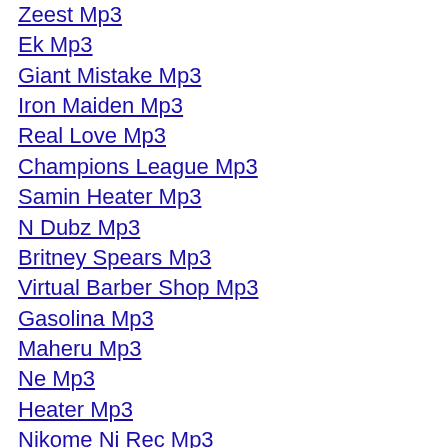Zeest Mp3
Ek Mp3
Giant Mistake Mp3
Iron Maiden Mp3
Real Love Mp3
Champions League Mp3
Samin Heater Mp3
N Dubz Mp3
Britney Spears Mp3
Virtual Barber Shop Mp3
Gasolina Mp3
Maheru Mp3
Ne Mp3
Heater Mp3
Nikome Ni Rec Mp3
Kopriva Mp3
Enya Mp3
Punjabi Mp3
Lab Pe Aati Hai Dua Mp3
Chadta Suraj Mp3
Nelly Mp3
Crazy Mp3
Hilary Duff Mp3
Instrumental Mp3
Fergie Mp3
Champions League Mp3